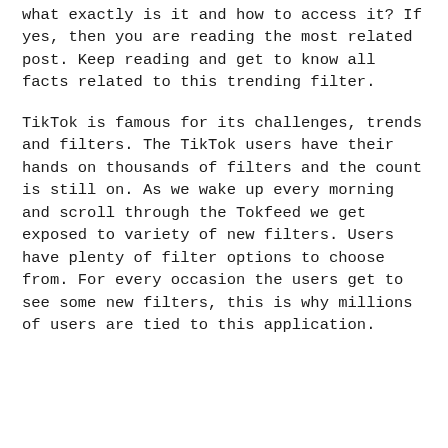what exactly is it and how to access it? If yes, then you are reading the most related post. Keep reading and get to know all facts related to this trending filter.
TikTok is famous for its challenges, trends and filters. The TikTok users have their hands on thousands of filters and the count is still on. As we wake up every morning and scroll through the Tokfeed we get exposed to variety of new filters. Users have plenty of filter options to choose from. For every occasion the users get to see some new filters, this is why millions of users are tied to this application.